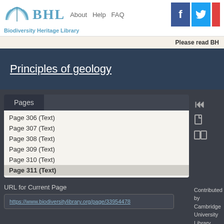[Figure (logo): BHL (Biodiversity Heritage Library) logo with book icon, tagline, navigation links (About, Help, FAQ), and social media icons (Facebook, Twitter, and one partially visible)]
Please read BH
Principles of geology
Pages
Page 306 (Text)
Page 307 (Text)
Page 308 (Text)
Page 309 (Text)
Page 310 (Text)
Page 311 (Text)
URL for Current Page
https://www.biodiversitylibrary.org/page/33954478
Contributed by Cambridge University Library